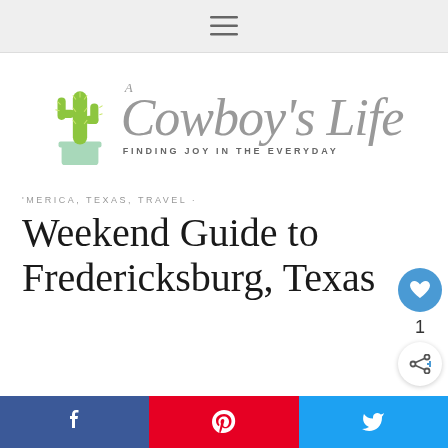Navigation menu bar
[Figure (logo): A Cowboy's Life blog logo featuring a cactus in a pot and script text reading "A Cowboy's Life" with tagline "Finding Joy in the Everyday"]
'MERICA, TEXAS, TRAVEL ·
Weekend Guide to Fredericksburg, Texas
[Figure (infographic): Like button (heart icon, blue circle) with count 1, and share button below]
[Figure (infographic): Social share buttons: Facebook (blue), Pinterest (red), Twitter (blue)]